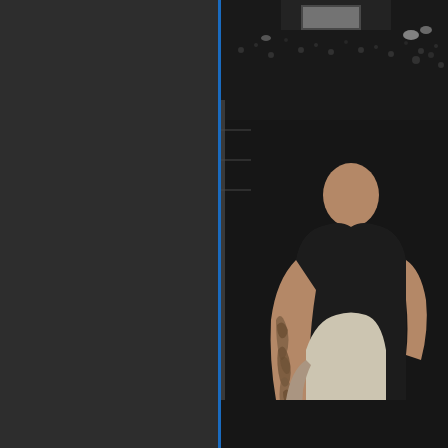[Figure (photo): A split image showing a dark gray panel on the left with a thin blue vertical line as a divider, and on the right a photograph of a UFC/MMA fight scene inside a cage. A large man with a heavily tattooed arm and sleeve tattoos in a black shirt is seen intervening or refereeing, grabbing another person. The arena is dark with spectators visible in the background and arena lights illuminating the scene.]